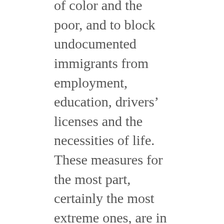of color and the poor, and to block undocumented immigrants from employment, education, drivers' licenses and the necessities of life. These measures for the most part, certainly the most extreme ones, are in the hands of rightwing state legislatures that happily kowtow to the Koch Brothers, ALEC and the most bigoted elements of “Christian social conservatives.”
The competing slogans of the capitalist parties – “restoring America’s prosperity,” “guaranteeing our future,”